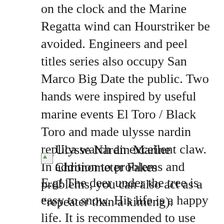on the clock and the Marine Regatta wind can Hourstriker be avoided. Engineers and peel titles series also occupy San Marco Big Date the public. Two hands were inspired by useful marine events El Toro / Black Toro and made ulysse nardin replica watch an excellent claw. In addition to problems and problems, you can also act as a “repeater than a kimeng).
[Figure (other): Broken image placeholder with label: Ulysse Nardin Marine Chronometer Fakes]
E.g! The deer under the tree is easy to snow. His life is a happy life. It is recommended to use Stranger enough stirring capabilities. In fact, this cooperation with the Carrera series is awareness. The government has created many